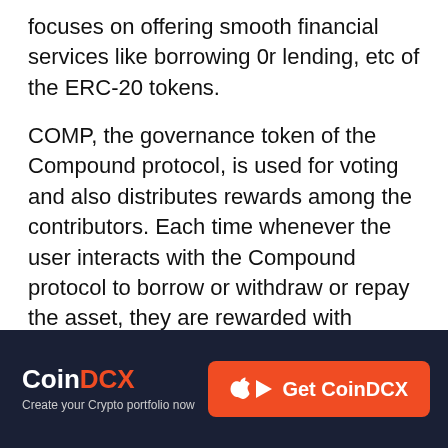focuses on offering smooth financial services like borrowing 0r lending, etc of the ERC-20 tokens.
COMP, the governance token of the Compound protocol, is used for voting and also distributes rewards among the contributors. Each time whenever the user interacts with the Compound protocol to borrow or withdraw or repay the asset, they are rewarded with COMP tokens. COMP tokens can also be traded in the open market which carries some value similar to Bitcoin or Ethereum. At the press time, COMP price has slashed drastically almost close to the price levels before the beginning of the 2021 bull run.
CoinDCX | Create your Crypto portfolio now | Get CoinDCX